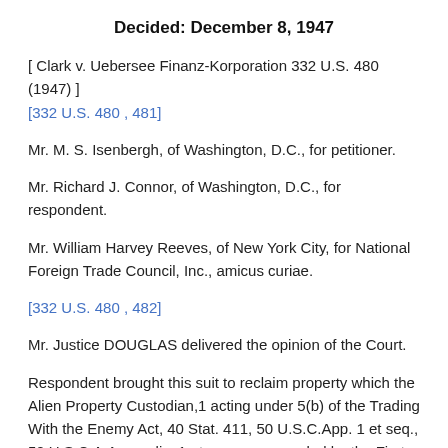Decided: December 8, 1947
[ Clark v. Uebersee Finanz-Korporation 332 U.S. 480 (1947) ] [332 U.S. 480 , 481]
Mr. M. S. Isenbergh, of Washington, D.C., for petitioner.
Mr. Richard J. Connor, of Washington, D.C., for respondent.
Mr. William Harvey Reeves, of New York City, for National Foreign Trade Council, Inc., amicus curiae.
[332 U.S. 480 , 482]
Mr. Justice DOUGLAS delivered the opinion of the Court.
Respondent brought this suit to reclaim property which the Alien Property Custodian,1 acting under 5(b) of the Trading With the Enemy Act, 40 Stat. 411, 50 U.S.C.App. 1 et seq., 50 U.S.C.A.Appendix, 1 et seq., as amended by the First War...